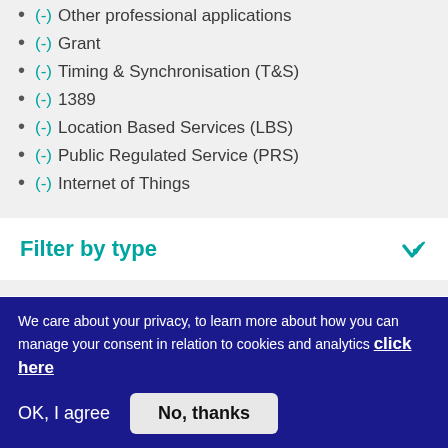(-) Other professional applications
(-) Grant
(-) Timing & Synchronisation (T&S)
(-) 1389
(-) Location Based Services (LBS)
(-) Public Regulated Service (PRS)
(-) Internet of Things
Filter by type
Filter by status
We care about your privacy, to learn more about how you can manage your consent in relation to cookies and analytics click here
OK, I agree
No, thanks